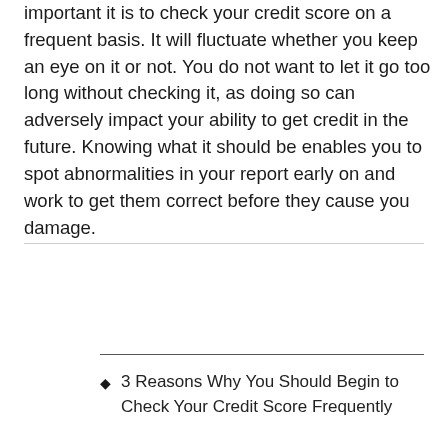important it is to check your credit score on a frequent basis. It will fluctuate whether you keep an eye on it or not. You do not want to let it go too long without checking it, as doing so can adversely impact your ability to get credit in the future. Knowing what it should be enables you to spot abnormalities in your report early on and work to get them correct before they cause you damage.
3 Reasons Why You Should Begin to Check Your Credit Score Frequently